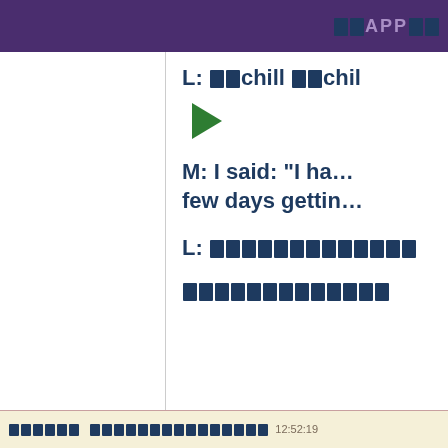▪▪APP▪▪
L: ▪▪chill ▪▪chil…
[Figure (other): Green play button triangle icon]
M: I said: "I ha… few days gettin…
L: ▪▪▪▪▪▪▪▪▪▪▪▪▪
▪▪▪▪▪▪▪▪▪▪▪▪▪
▪▪▪▪▪▪ ▪▪▪▪▪▪▪▪▪▪▪▪▪▪▪ 12:52:19